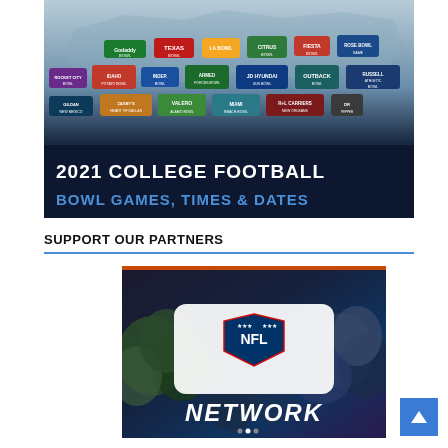[Figure (illustration): 2021 College Football Bowl Games, Times & Dates promotional banner with multiple bowl game logos on a dark background, with large white and blue text at the bottom]
SUPPORT OUR PARTNERS
[Figure (photo): NFL Network promotional image showing football players in helmets with NFL shield logo and NETWORK text in italic white lettering]